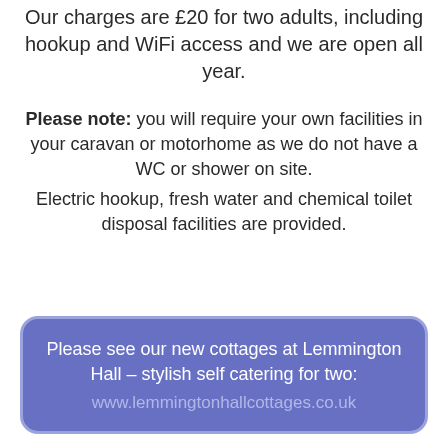Our charges are £20 for two adults, including hookup and WiFi access and we are open all year.
Please note: you will require your own facilities in your caravan or motorhome as we do not have a WC or shower on site.
Electric hookup, fresh water and chemical toilet disposal facilities are provided.
Please see our new cottages at Lemmington Hall – stylish self catering for two:
www.lemmingtonhallcottages.co.uk